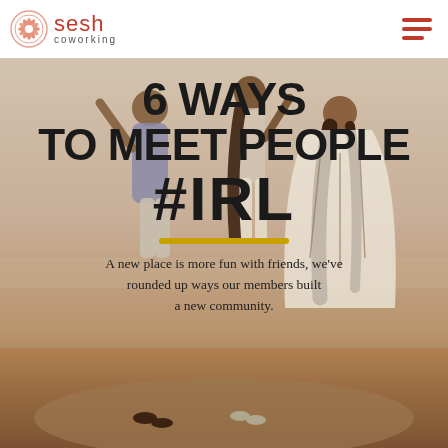sesh coworking
[Figure (photo): Three young women seen from behind standing outdoors at a beach/rocky area, arms raised, wearing bohemian/summer clothing. Used as background image for article title overlay.]
6 WAYS TO MEET PEOPLE #IRL
A new place is more fun with friends, we've rounded up ways our members built a new community.